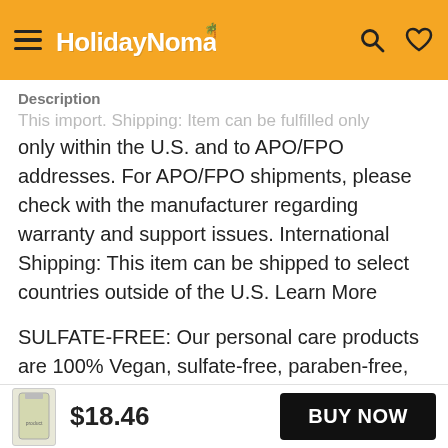HolidayNomad [logo]
Description
only within the U.S. and to APO/FPO addresses. For APO/FPO shipments, please check with the manufacturer regarding warranty and support issues. International Shipping: This item can be shipped to select countries outside of the U.S. Learn More
SULFATE-FREE: Our personal care products are 100% Vegan, sulfate-free, paraben-free, gluten-free and THC-free that formulates the bath gel to help the
$18.46  BUY NOW